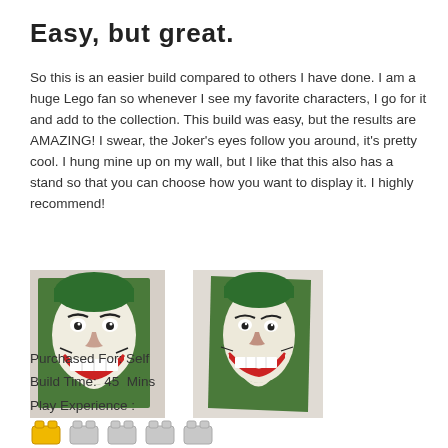Easy, but great.
So this is an easier build compared to others I have done. I am a huge Lego fan so whenever I see my favorite characters, I go for it and add to the collection. This build was easy, but the results are AMAZING! I swear, the Joker’s eyes follow you around, it’s pretty cool. I hung mine up on my wall, but I like that this also has a stand so that you can choose how you want to display it. I highly recommend!
[Figure (photo): Two photos of a Lego Joker mosaic portrait. Left photo shows a front-facing view of the completed Joker mosaic hung on a wall. Right photo shows a slightly angled view of the same Joker mosaic portrait on a wall.]
Purchased For: Self
Build Time:  45  Mins
Play Experience :
[Figure (infographic): Five Lego brick icons rating play experience — one yellow/gold filled brick followed by four grey/unfilled bricks, indicating a 1 out of 5 rating.]